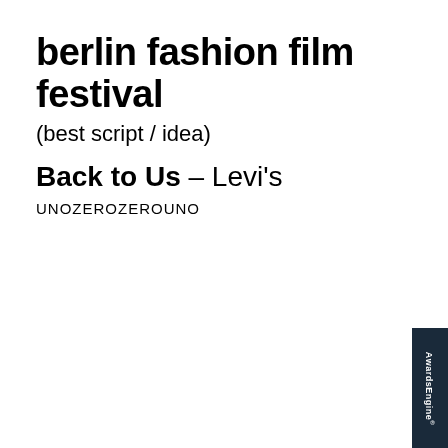berlin fashion film festival
(best script / idea)
Back to Us - Levi's
UNOZEROZEROUNO
[Figure (logo): AwardsEngine watermark logo in dark blue vertical banner at bottom right corner]